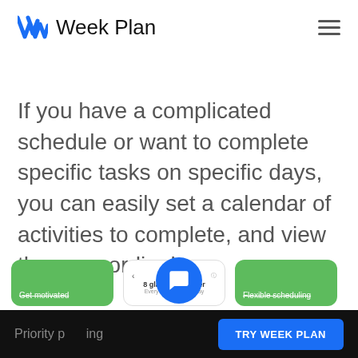Week Plan
If you have a complicated schedule or want to complete specific tasks on specific days, you can easily set a calendar of activities to complete, and view them accordingly.
[Figure (screenshot): Three partially visible app cards: a green card labeled 'Get motivated', a white card showing '8 glasses of water' task detail, and a green card labeled 'Flexible scheduling']
Priority planning   TRY WEEK PLAN